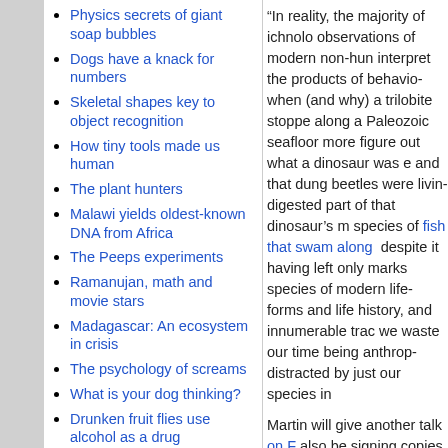Physics secrets of giant soap bubbles
Dogs have a knack for numbers
Skeletal shapes key to object recognition
How tiny tools made us human
The plant hunters
Malawi yields oldest-known DNA from Africa
The Peeps experiments
Ramanujan, math and movie stars
Madagascar: An ecosystem in crisis
The psychology of screams
What is your dog thinking?
Drunken fruit flies use alcohol as a drug
“In reality, the majority of ichnolo... observations of modern non-hun... interpret the products of behavio... when (and why) a trilobite stoppe... along a Paleozoic seafloor more... figure out what a dinosaur was e... and that dung beetles were livin... digested part of that dinosaur’s m... species of fish that swam along... despite it having left only marks... species of modern life-forms and... life history, and innumerable trac... we waste our time being anthrop... distracted by just our species in...
Martin will give another talk on F... also be signing copies of his new... on February 24, Martin will be th... farm of Flannery O’Connor.
Related:
Lake-bed trails tell ancient fish s... Polar dinosaur tracks open new... Burrow into a good book on wild...